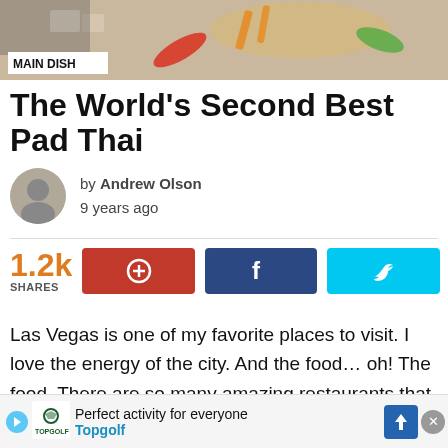[Figure (photo): Hero food photo showing colorful Thai ingredients including vegetables, noodles, and other components from a top-down perspective. A white label 'MAIN DISH' overlays the bottom-left of the image.]
The World's Second Best Pad Thai
by Andrew Olson
9 years ago
[Figure (infographic): Social share buttons: 1.2k SHARES count in orange, Pinterest button (red), Facebook button (dark blue), Twitter button (light blue)]
Las Vegas is one of my favorite places to visit. I love the energy of the city. And the food… oh! The food. There are so many amazing restaurants that have vegan-specific menus which d[...] went ve[...]
Perfect activity for everyone
Topgolf